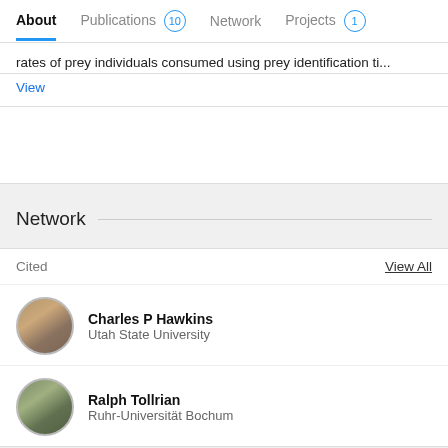About | Publications 10 | Network | Projects 1
rates of prey individuals consumed using prey identification ti...
View
Network
Cited
View All
Charles P Hawkins
Utah State University
Ralph Tollrian
Ruhr-Universität Bochum